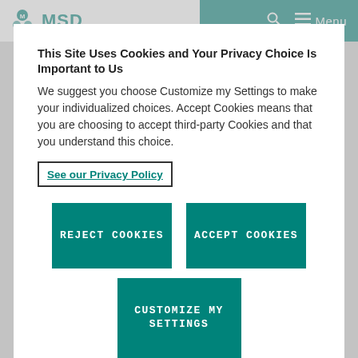MSD — Menu (navigation bar with search and hamburger menu)
This Site Uses Cookies and Your Privacy Choice Is Important to Us
We suggest you choose Customize my Settings to make your individualized choices. Accept Cookies means that you are choosing to accept third-party Cookies and that you understand this choice.
See our Privacy Policy
Reject Cookies
Accept Cookies
Customize my Settings